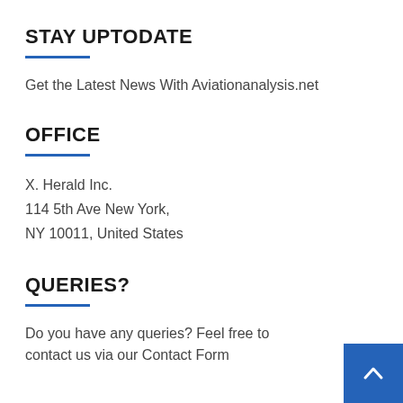STAY UPTODATE
Get the Latest News With Aviationanalysis.net
OFFICE
X. Herald Inc.
114 5th Ave New York,
NY 10011, United States
QUERIES?
Do you have any queries? Feel free to contact us via our Contact Form